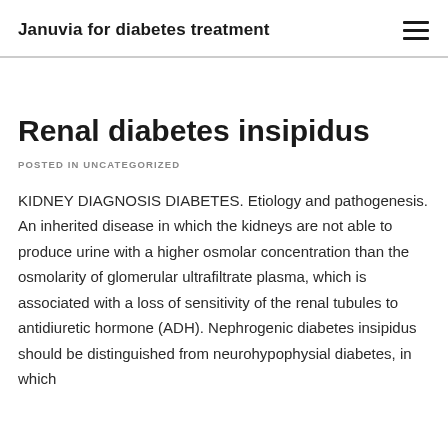Januvia for diabetes treatment
Renal diabetes insipidus
POSTED IN UNCATEGORIZED
KIDNEY DIAGNOSIS DIABETES. Etiology and pathogenesis. An inherited disease in which the kidneys are not able to produce urine with a higher osmolar concentration than the osmolarity of glomerular ultrafiltrate plasma, which is associated with a loss of sensitivity of the renal tubules to antidiuretic hormone (ADH). Nephrogenic diabetes insipidus should be distinguished from neurohypophysial diabetes, in which